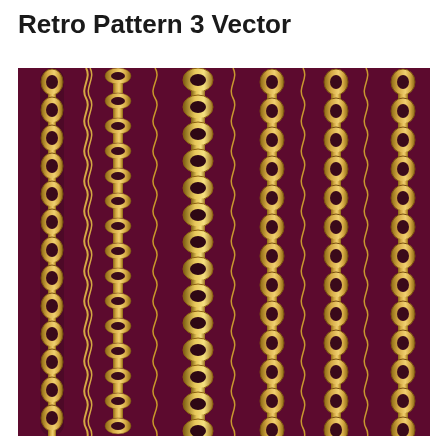Retro Pattern 3 Vector
[Figure (illustration): A dark maroon/burgundy background with repeating vertical decorative chains/borders made of gold/yellow oval links connected by narrow wavy stems, arranged in parallel columns across the entire image. The chains have a retro ornamental style with circular holes in the oval links.]